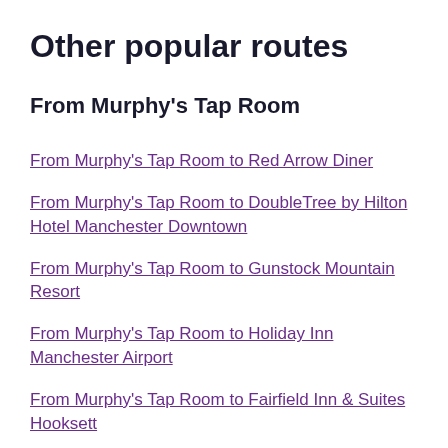Other popular routes
From Murphy's Tap Room
From Murphy's Tap Room to Red Arrow Diner
From Murphy's Tap Room to DoubleTree by Hilton Hotel Manchester Downtown
From Murphy's Tap Room to Gunstock Mountain Resort
From Murphy's Tap Room to Holiday Inn Manchester Airport
From Murphy's Tap Room to Fairfield Inn & Suites Hooksett
From Murphy's Tap Room to SpringHill Suites